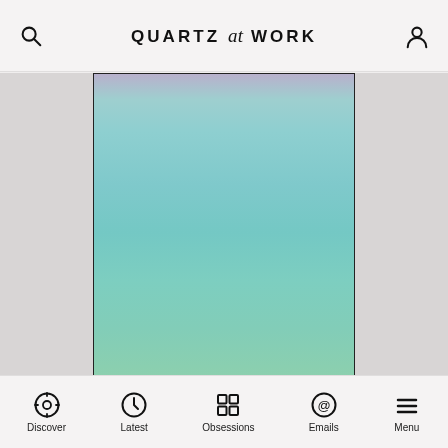QUARTZ at WORK
[Figure (illustration): Abstract gradient image with light teal and mint tones, slight purple accent at top, contained within a black border, shown on a grey background]
As an entrepreneur seeking to be taken seriously—and, sometimes, funded by top-level entrepreneurs—it's easy to feel stupid asking such tactical questions to people
Discover | Latest | Obsessions | Emails | Menu